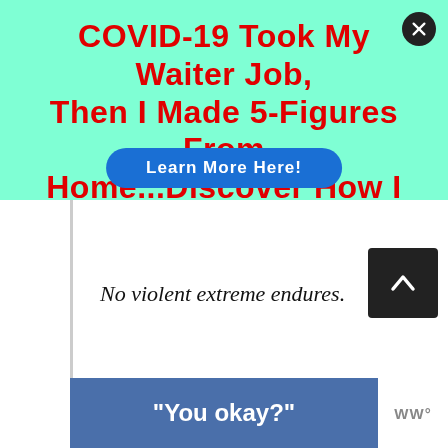COVID-19 Took My Waiter Job, Then I Made 5-Figures From Home...Discover How I Did It!
[Figure (other): Blue oval 'Learn More Here!' button overlaid on the ad banner]
No violent extreme endures.
[Figure (other): Blue rectangular banner with white bold text reading: "You okay?" with WW logo at bottom right]